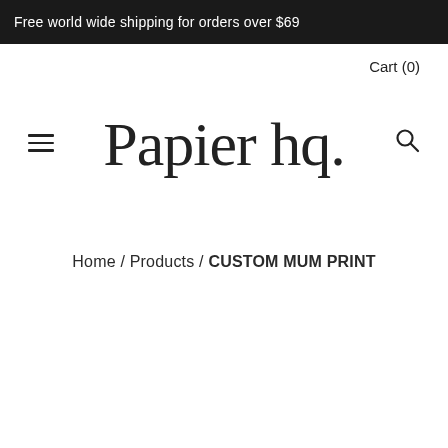Free world wide shipping for orders over $69
Cart (0)
[Figure (logo): Papier hq. cursive script logo in dark ink]
Home / Products / CUSTOM MUM PRINT